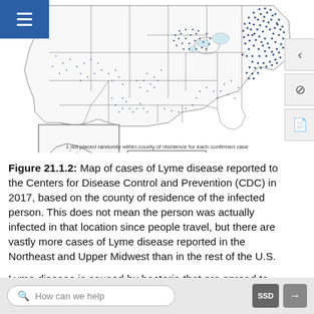[Figure (map): Map of the United States showing cases of Lyme disease reported to the CDC in 2017. Dots are concentrated heavily in the Northeast and Upper Midwest regions. Inset maps show Alaska and Hawaii. Note: '1 dot placed randomly within county of residence for each confirmed case'.]
Figure 21.1.2: Map of cases of Lyme disease reported to the Centers for Disease Control and Prevention (CDC) in 2017, based on the county of residence of the infected person. This does not mean the person was actually infected in that location since people travel, but there are vastly more cases of Lyme disease reported in the Northeast and Upper Midwest than in the rest of the U.S.
Lyme disease is caused by bacteria that are spread to